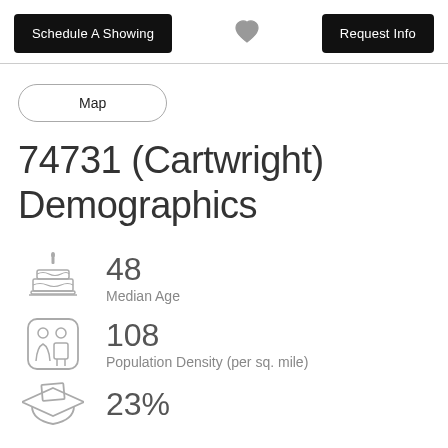Schedule A Showing | [heart] | Request Info
Map
74731 (Cartwright) Demographics
[Figure (infographic): Birthday cake icon with candle representing Median Age]
48
Median Age
[Figure (infographic): Two people icon in a rounded square representing Population Density]
108
Population Density (per sq. mile)
[Figure (infographic): Graduation cap icon]
23%